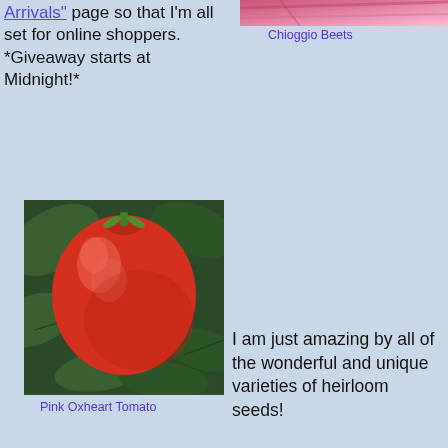Arrivals" page so that I'm all set for online shoppers.  *Giveaway starts at Midnight!*
[Figure (photo): Top portion of Chioggio Beets photo showing pink/magenta color]
Chioggio Beets
[Figure (photo): Large red Pink Oxheart Tomato on vine with green leaves]
Pink Oxheart Tomato
I am just amazing by all of the wonderful and unique varieties of heirloom seeds!
[Figure (photo): Purple/violet colored beans in a bowl]